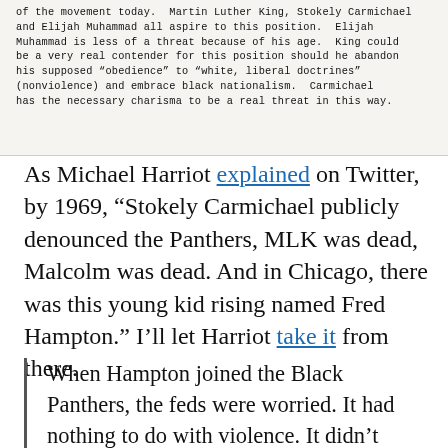[Figure (photo): Scanned typewritten text excerpt: 'of the movement today. Martin Luther King, Stokely Carmichael and Elijah Muhammad all aspire to this position. Elijah Muhammad is less of a threat because of his age. King could be a very real contender for this position should he abandon his supposed "obedience" to "white, liberal doctrines" (nonviolence) and embrace black nationalism. Carmichael has the necessary charisma to be a real threat in this way.']
As Michael Harriot explained on Twitter, by 1969, “Stokely Carmichael publicly denounced the Panthers, MLK was dead, Malcolm was dead. And in Chicago, there was this young kid rising named Fred Hampton.” I’ll let Harriot take it from there.
When Hampton joined the Black Panthers, the feds were worried. It had nothing to do with violence. It didn’t really have anything to do with the Civil Rights Movement.